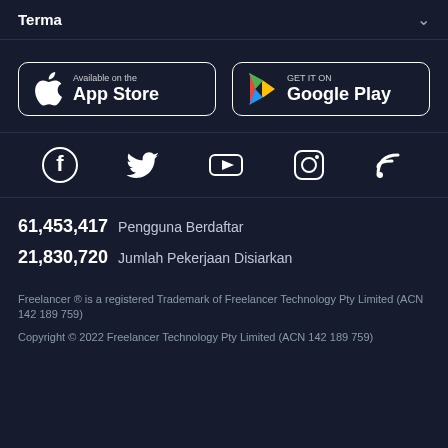Terma
[Figure (screenshot): App Store and Google Play download buttons side by side]
[Figure (infographic): Social media icons: Facebook, Twitter, YouTube, Instagram, RSS]
61,453,417 Pengguna Berdaftar
21,830,720 Jumlah Pekerjaan Disiarkan
Freelancer ® is a registered Trademark of Freelancer Technology Pty Limited (ACN 142 189 759)
Copyright © 2022 Freelancer Technology Pty Limited (ACN 142 189 759)